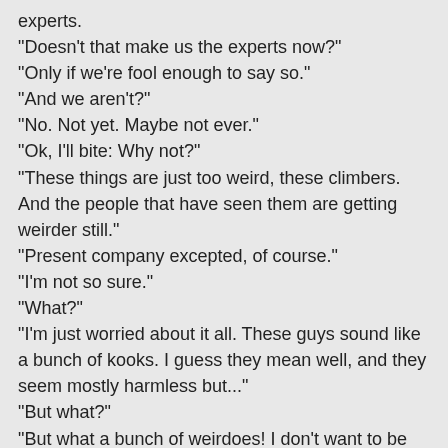experts.
"Doesn't that make us the experts now?"
"Only if we're fool enough to say so."
"And we aren't?"
"No. Not yet. Maybe not ever."
"Ok, I'll bite: Why not?"
"These things are just too weird, these climbers. And the people that have seen them are getting weirder still."
"Present company excepted, of course."
"I'm not so sure."
"What?"
"I'm just worried about it all. These guys sound like a bunch of kooks. I guess they mean well, and they seem mostly harmless but..."
"But what?"
"But what a bunch of weirdoes! I don't want to be like that."
"You aren't like that."
"I'm not?"
"No, you're far worse!"
That was all Barbara needed to do to ease Ray's mind on the subject. Of course he wasn't a weirdo. He was still good ol' Ray, the practical joker. Ray Meadows, the electronic communications